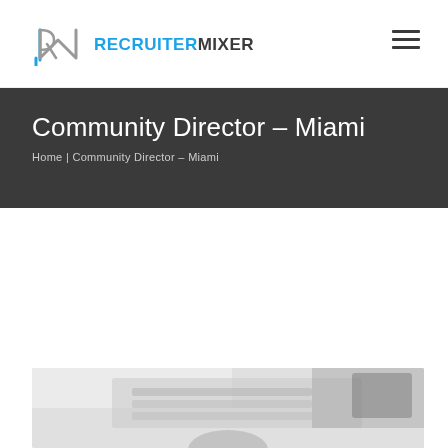RECRUITERMIXER — navigation header with hamburger menu
Community Director – Miami
Home | Community Director – Miami
< Previous   Next >
[Figure (photo): Partial view of a laptop or keyboard on a desk, showing a person's hands, cropped at bottom of page]